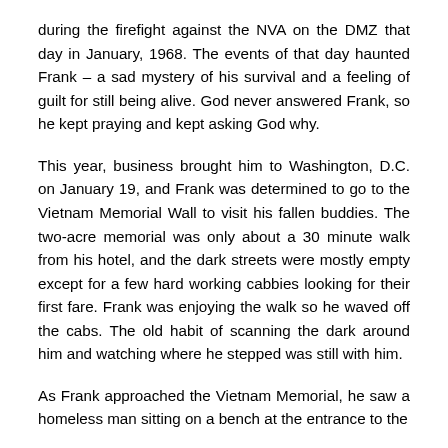during the firefight against the NVA on the DMZ that day in January, 1968. The events of that day haunted Frank – a sad mystery of his survival and a feeling of guilt for still being alive. God never answered Frank, so he kept praying and kept asking God why.
This year, business brought him to Washington, D.C. on January 19, and Frank was determined to go to the Vietnam Memorial Wall to visit his fallen buddies. The two-acre memorial was only about a 30 minute walk from his hotel, and the dark streets were mostly empty except for a few hard working cabbies looking for their first fare. Frank was enjoying the walk so he waved off the cabs. The old habit of scanning the dark around him and watching where he stepped was still with him.
As Frank approached the Vietnam Memorial, he saw a homeless man sitting on a bench at the entrance to the